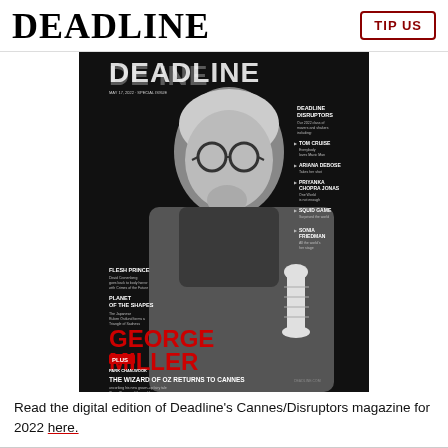DEADLINE | TIP US
[Figure (photo): Cover of Deadline's Cannes/Disruptors 2022 magazine featuring George Miller in black and white, wearing round glasses and a leather jacket, holding a chess piece. Text on cover reads 'GEORGE MILLER - THE WIZARD OF OZ RETURNS TO CANNES - uncorking his new grown-up fairy tale Three Thousand Years of Longing, starring Tilda Swinton and Idris Elba'. Also features sections: Deadline Disruptors, Tom Cruise, Ariana DeBose, Priyanka Chopra Jonas, Squid Game, Sonia Friedman, Flesh Prince, Planet of the Shapes, plus Park Chan-wook, Joel Awyn, Faara Essehou and more Cannes alums...]
Read the digital edition of Deadline's Cannes/Disruptors magazine for 2022 here.